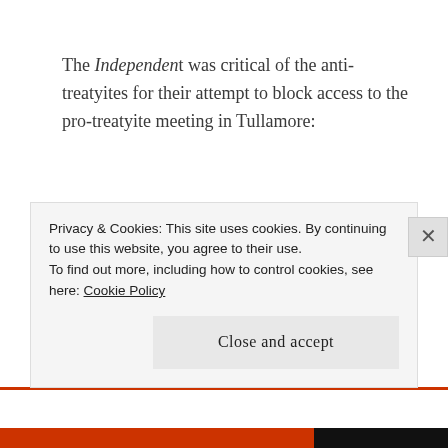The Independent was critical of the anti-treatyites for their attempt to block access to the pro-treatyite meeting in Tullamore:
Unfortunately, both at Tullamore and at Wexford, where Pro-Treaty meeting were held on last Sunday, the opponent of the Treaty ignored the resolution to which the signatures of Mr. E. de Valera and Mr. Cathal Brugha were appended. All roads leading to Tullamore were...
Privacy & Cookies: This site uses cookies. By continuing to use this website, you agree to their use.
To find out more, including how to control cookies, see here: Cookie Policy

Close and accept